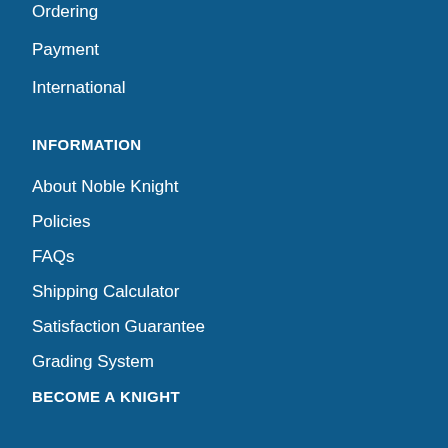Ordering
Payment
International
INFORMATION
About Noble Knight
Policies
FAQs
Shipping Calculator
Satisfaction Guarantee
Grading System
BECOME A KNIGHT
Careers
Affiliate
Sell/Trade